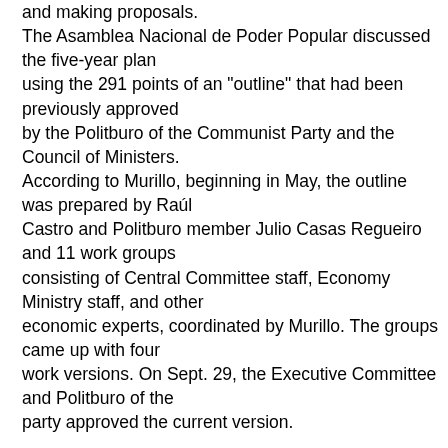and making proposals. The Asamblea Nacional de Poder Popular discussed the five-year plan using the 291 points of an "outline" that had been previously approved by the Politburo of the Communist Party and the Council of Ministers. According to Murillo, beginning in May, the outline was prepared by Raúl Castro and Politburo member Julio Casas Regueiro and 11 work groups consisting of Central Committee staff, Economy Ministry staff, and other economic experts, coordinated by Murillo. The groups came up with four work versions. On Sept. 29, the Executive Committee and Politburo of the party approved the current version. In addition to Murillo and Finance Minister Lina Pedraza, Raúl Castro himself threw his whole weight behind the session,